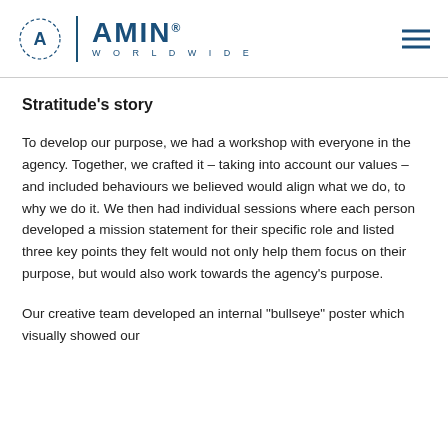AMIN WORLDWIDE
Stratitude's story
To develop our purpose, we had a workshop with everyone in the agency. Together, we crafted it – taking into account our values – and included behaviours we believed would align what we do, to why we do it. We then had individual sessions where each person developed a mission statement for their specific role and listed three key points they felt would not only help them focus on their purpose, but would also work towards the agency's purpose.
Our creative team developed an internal "bullseye" poster which visually showed our